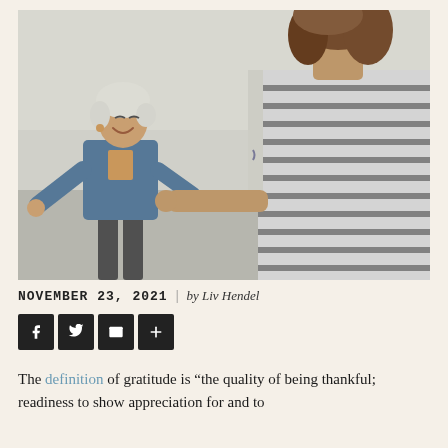[Figure (photo): Two women greeting each other outdoors. An older woman with short white hair wearing a denim jacket is smiling and reaching out her hand. A younger woman with curly brown hair wearing a striped shirt is seen from behind.]
NOVEMBER 23, 2021 | by Liv Hendel
[Figure (infographic): Social share buttons: Facebook (f), Twitter bird icon, Email (envelope), Plus (+)]
The definition of gratitude is “the quality of being thankful; readiness to show appreciation for and to